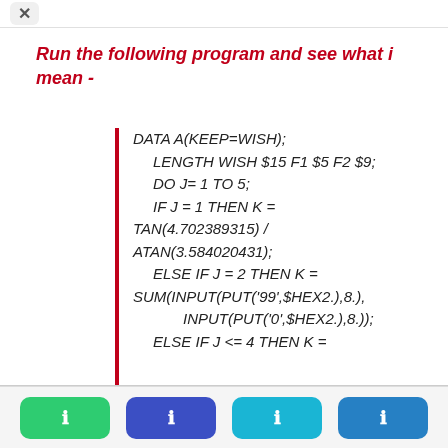Run the following program and see what i mean -
DATA A(KEEP=WISH);
    LENGTH WISH $15 F1 $5 F2 $9;
    DO J= 1 TO 5;
    IF J = 1 THEN K =
TAN(4.702389315) /
ATAN(3.584020431);
    ELSE IF J = 2 THEN K =
SUM(INPUT(PUT('99',$HEX2.),8.),
        INPUT(PUT('0',$HEX2.),8.));
    ELSE IF J <= 4 THEN K =